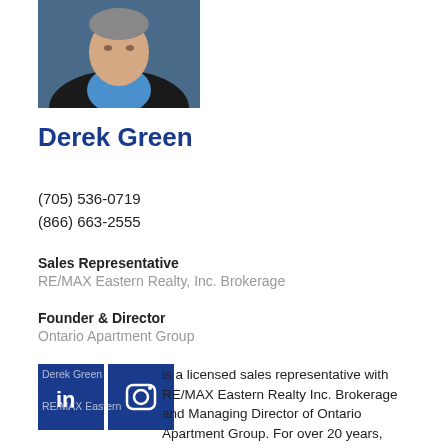[Figure (photo): Headshot of Derek Green, a man wearing a blue shirt and dark jacket]
Derek Green
(705) 536-0719
(866) 663-2555
Sales Representative
RE/MAX Eastern Realty, Inc. Brokerage
Founder & Director
Ontario Apartment Group
[Figure (logo): LinkedIn and Instagram social media icons with Derek Green and RE/MAX Eastern text overlay]
Derek Green is a licensed sales representative with RE/MAX Eastern Realty Inc. Brokerage and Managing Director of Ontario Apartment Group. For over 20 years, Derek has worked with developers, public energy corporations, public healthcare and educational institutions, public and private REITs